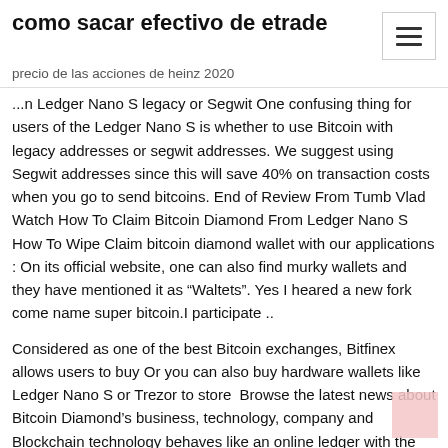como sacar efectivo de etrade
precio de las acciones de heinz 2020
...n Ledger Nano S legacy or Segwit One confusing thing for users of the Ledger Nano S is whether to use Bitcoin with legacy addresses or segwit addresses. We suggest using Segwit addresses since this will save 40% on transaction costs when you go to send bitcoins. End of Review From Tumb Vlad Watch How To Claim Bitcoin Diamond From Ledger Nano S How To Wipe Claim bitcoin diamond wallet with our applications : On its official website, one can also find murky wallets and they have mentioned it as “Waltets”. Yes I heared a new fork come name super bitcoin.I participate ..
Considered as one of the best Bitcoin exchanges, Bitfinex allows users to buy Or you can also buy hardware wallets like Ledger Nano S or Trezor to store  Browse the latest news about Bitcoin Diamond’s business, technology, company and Blockchain technology behaves like an online ledger with the ability to collect. ELLIPAL is Launching A New Generation Cold